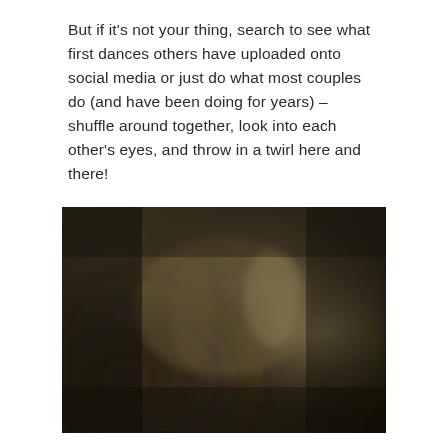But if it's not your thing, search to see what first dances others have uploaded onto social media or just do what most couples do (and have been doing for years) – shuffle around together, look into each other's eyes, and throw in a twirl here and there!
[Figure (photo): A blurry, dimly lit photograph showing what appears to be a couple dancing or embracing in a warmly lit indoor setting with dark, earthy tones.]